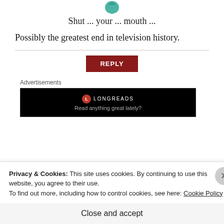[Figure (illustration): Teal/green avatar icon at top center]
Shut ... your ... mouth ...
Possibly the greatest end in television history.
REPLY
Advertisements
[Figure (screenshot): Longreads advertisement banner: logo and text 'Read anything great lately?']
[Figure (illustration): Teal avatar icon at bottom left]
laecstev
Privacy & Cookies: This site uses cookies. By continuing to use this website, you agree to their use.
To find out more, including how to control cookies, see here: Cookie Policy
Close and accept